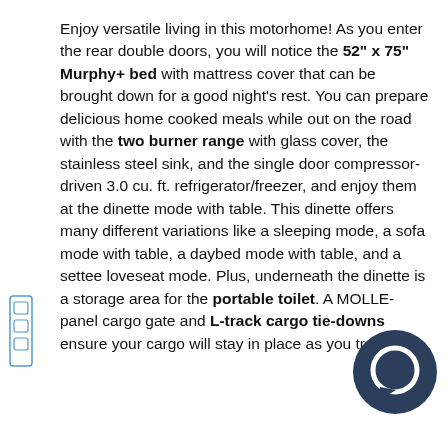Enjoy versatile living in this motorhome! As you enter the rear double doors, you will notice the 52" x 75" Murphy+ bed with mattress cover that can be brought down for a good night's rest. You can prepare delicious home cooked meals while out on the road with the two burner range with glass cover, the stainless steel sink, and the single door compressor-driven 3.0 cu. ft. refrigerator/freezer, and enjoy them at the dinette mode with table. This dinette offers many different variations like a sleeping mode, a sofa mode with table, a daybed mode with table, and a settee loveseat mode. Plus, underneath the dinette is a storage area for the portable toilet. A MOLLE-panel cargo gate and L-track cargo tie-downs ensure your cargo will stay in place as you travel!